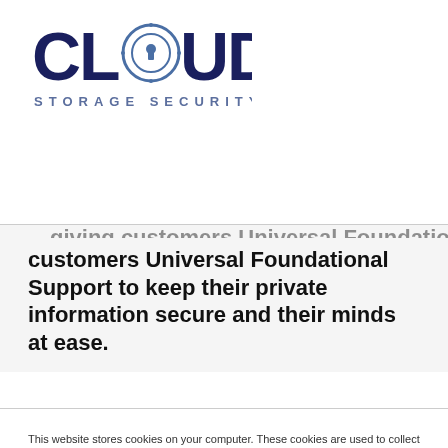[Figure (logo): Cloud Storage Security logo: large 'CLOUD' text in dark navy with a padlock/shield icon replacing the 'O', and 'STORAGE SECURITY' in smaller spaced caps below in blue-grey]
customers Universal Foundational Support to keep their private information secure and their minds at ease.
This website stores cookies on your computer. These cookies are used to collect information about how you interact with our website and allow us to remember you. We use this information in order to improve and customize your browsing experience and for analytics and metrics about our visitors both on this website and other media. To find out more about the cookies we use, see our Privacy Policy.
Okay